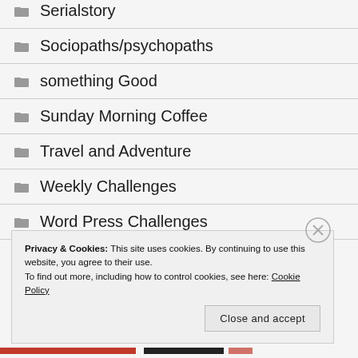Serialstory
Sociopaths/psychopaths
something Good
Sunday Morning Coffee
Travel and Adventure
Weekly Challenges
Word Press Challenges
Privacy & Cookies: This site uses cookies. By continuing to use this website, you agree to their use.
To find out more, including how to control cookies, see here: Cookie Policy
Close and accept